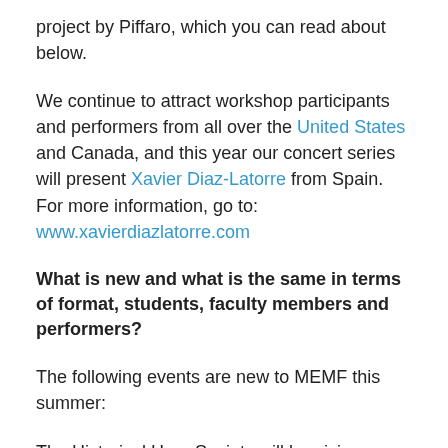project by Piffaro, which you can read about below.
We continue to attract workshop participants and performers from all over the United States and Canada, and this year our concert series will present Xavier Diaz-Latorre from Spain. For more information, go to: www.xavierdiazlatorre.com
What is new and what is the same in terms of format, students, faculty members and performers?
The following events are new to MEMF this summer:
The Historical Harp Society will be giving a conference before MEMF begins, from Thursday, July 6 through Saturday, July 8, with classes and lectures that will culminate in a concert of Harp Music from the Spanish Golden Age on Friday, July 7, at 7:30 p.m. in Morphy